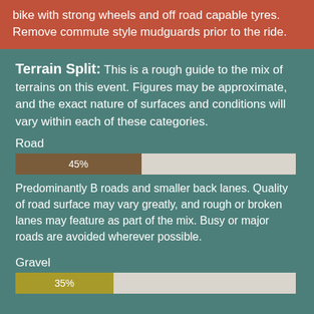bike with strong wheels and off road capable tyres. Remove commute style mudguards prior to the ride.
Terrain Split: This is a rough guide to the mix of terrains on this event. Figures may be approximate, and the exact nature of surfaces and conditions will vary within each of these categories.
Road
[Figure (bar-chart): Road terrain percentage]
Predominantly B roads and smaller back lanes. Quality of road surface may vary greatly, and rough or broken lanes may feature as part of the mix. Busy or major roads are avoided wherever possible.
Gravel
[Figure (bar-chart): Gravel terrain percentage]